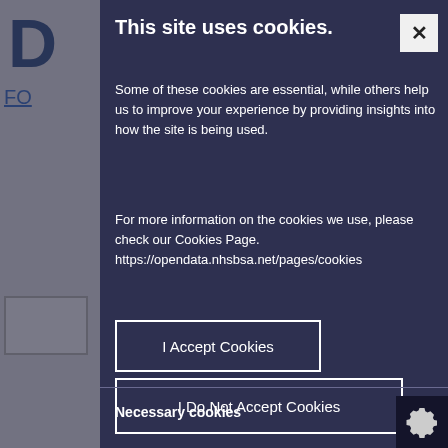This site uses cookies.
Some of these cookies are essential, while others help us to improve your experience by providing insights into how the site is being used.
For more information on the cookies we use, please check our Cookies Page. https://opendata.nhsbsa.net/pages/cookies
I Accept Cookies
I Do Not Accept Cookies
Necessary cookies